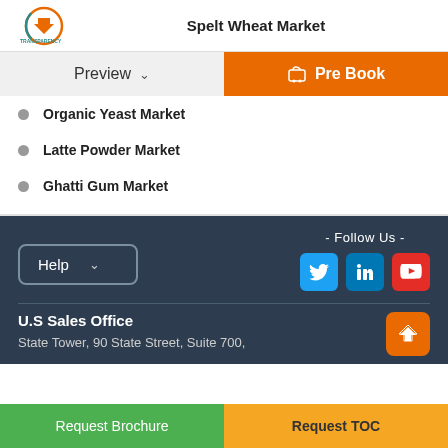Spelt Wheat Market
[Figure (logo): Transparency Market Research logo]
Preview | Pre Book
Organic Yeast Market
Latte Powder Market
Ghatti Gum Market
Help
- Follow Us -
U.S Sales Office
State Tower, 90 State Street, Suite 700,
Request Brochure | Request TOC